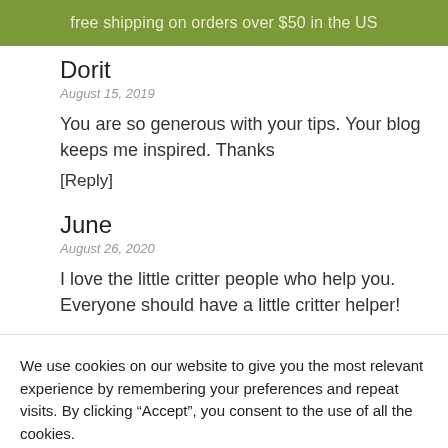free shipping on orders over $50 in the US
Dorit
August 15, 2019
You are so generous with your tips. Your blog keeps me inspired. Thanks
[Reply]
June
August 26, 2020
I love the little critter people who help you. Everyone should have a little critter helper!
We use cookies on our website to give you the most relevant experience by remembering your preferences and repeat visits. By clicking “Accept”, you consent to the use of all the cookies.
Cookie settings
ACCEPT